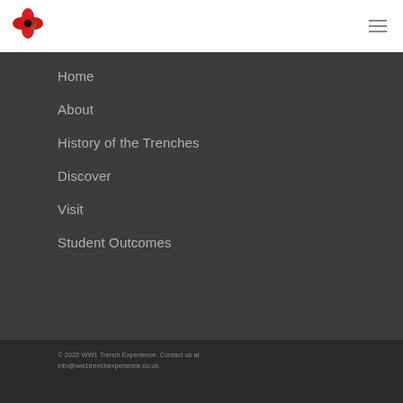[Figure (logo): Red poppy logo with green leaf]
Home
About
History of the Trenches
Discover
Visit
Student Outcomes
© 2022 WW1 Trench Experience. Contact us at info@ww1trenchexperience.co.uk.